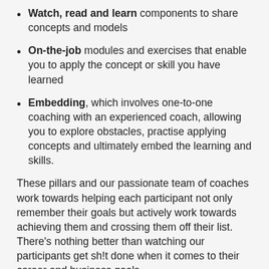Watch, read and learn components to share concepts and models
On-the-job modules and exercises that enable you to apply the concept or skill you have learned
Embedding, which involves one-to-one coaching with an experienced coach, allowing you to explore obstacles, practise applying concepts and ultimately embed the learning and skills.
These pillars and our passionate team of coaches work towards helping each participant not only remember their goals but actively work towards achieving them and crossing them off their list. There’s nothing better than watching our participants get sh!t done when it comes to their career and business goals.
If you would like to find out more about how our Peeplcoach programs can help you identify and achieve your goals, develop your action plan and